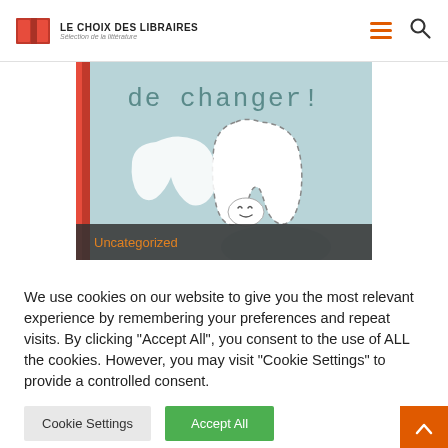LE CHOIX DES LIBRAIRES — Sélection de la littérature
[Figure (illustration): Book cover illustration showing text 'de changer!' with a white tooth character on a light blue speckled background, with a dark gray overlay bar at the bottom showing 'Uncategorized' in orange text.]
We use cookies on our website to give you the most relevant experience by remembering your preferences and repeat visits. By clicking "Accept All", you consent to the use of ALL the cookies. However, you may visit "Cookie Settings" to provide a controlled consent.
Cookie Settings
Accept All